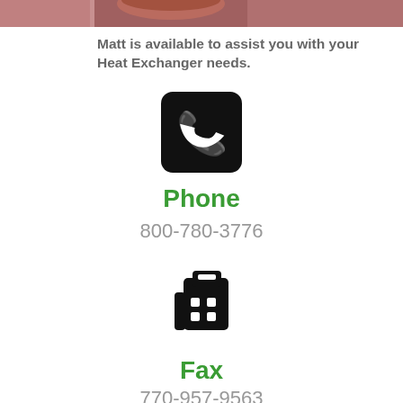[Figure (photo): Partial photo of a person (cropped, showing hair/face area), at top of page]
Matt is available to assist you with your Heat Exchanger needs.
[Figure (illustration): Black rounded-square icon with white telephone handset]
Phone
800-780-3776
[Figure (illustration): Black fax machine icon]
Fax
770-957-9563
Free Quote